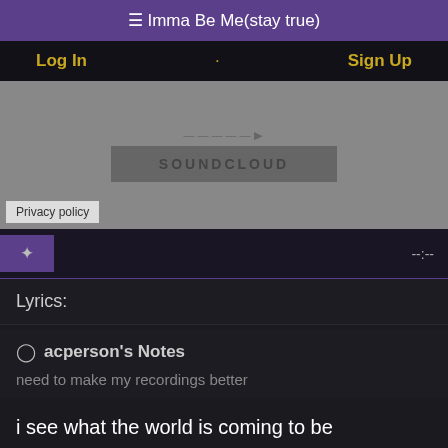☰ Imma Be Me(stay true)
Log In · Sign Up
[Figure (screenshot): SoundCloud embed area with gray background and SOUNDCLOUD button, with Privacy policy label at bottom left]
--:--
Lyrics:
acperson's Notes
need to make my recordings better
i see what the world is coming to be
just money and fame thats not gon be me
imma stay true to this reality
love my friends and my family